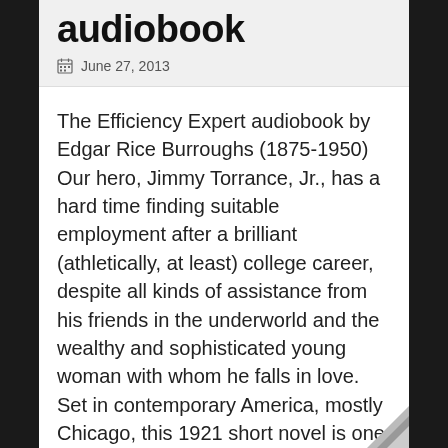audiobook
June 27, 2013
The Efficiency Expert audiobook by Edgar Rice Burroughs (1875-1950) Our hero, Jimmy Torrance, Jr., has a hard time finding suitable employment after a brilliant (athletically, at least) college career, despite all kinds of assistance from his friends in the underworld and the wealthy and sophisticated young woman with whom he falls in love. Set in contemporary America, mostly Chicago, this 1921 short novel is one of a handful of Burrough's works that does not take us to a fantasy or an exotic
Read more [...]